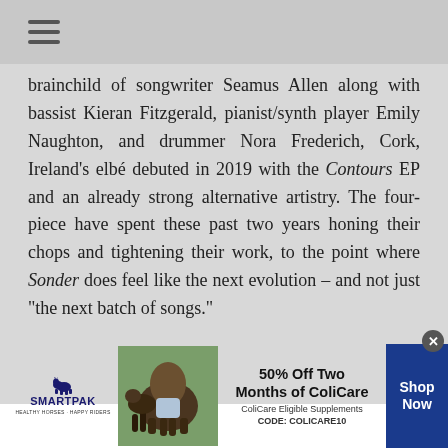[hamburger menu icon]
brainchild of songwriter Seamus Allen along with bassist Kieran Fitzgerald, pianist/synth player Emily Naughton, and drummer Nora Frederich, Cork, Ireland's elbé debuted in 2019 with the Contours EP and an already strong alternative artistry. The four-piece have spent these past two years honing their chops and tightening their work, to the point where Sonder does feel like the next evolution – and not just "the next batch of songs."
[Figure (infographic): SmartPak advertisement banner: SmartPak logo with horse icon on left, product photo with horse and rider in middle, '50% Off Two Months of ColiCare, ColiCare Eligible Supplements, CODE: COLICARE10' text, and 'Shop Now' blue button on right. Close button (x) at top right.]